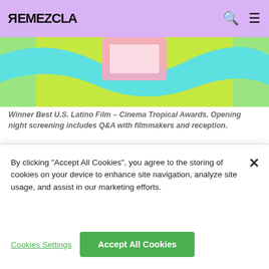REMEZCLA
[Figure (illustration): Colorful illustrated artwork with cyan, green, and pink geometric shapes suggesting a decorative banner or movie poster background.]
Winner Best U.S. Latino Film – Cinema Tropical Awards. Opening night screening includes Q&A with filmmakers and reception.
Synopsis —The makers of Mala Mala hit the streets and clubs of Puerto Rico to film a joyous and often raucous look at the lives of trans women (mostly performers) in San Juan. Though they travel the road to transition differently, they are united in their fight for
By clicking "Accept All Cookies", you agree to the storing of cookies on your device to enhance site navigation, analyze site usage, and assist in our marketing efforts.
Cookies Settings
Accept All Cookies